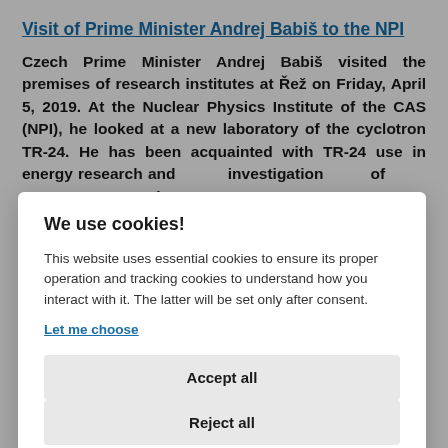Visit of Prime Minister Andrej Babiš to the NPI
Czech Prime Minister Andrej Babiš visited the premises of research institutes at Řež on Friday, April 5, 2019. At the Nuclear Physics Institute of the CAS (NPI), he looked at a new laboratory of the cyclotron TR-24. He has been acquainted with TR-24 use in energy research and investigation of new prospective
We use cookies!
This website uses essential cookies to ensure its proper operation and tracking cookies to understand how you interact with it. The latter will be set only after consent.
Let me choose
Accept all
Reject all
Academy of Sciences signed the Agreement about